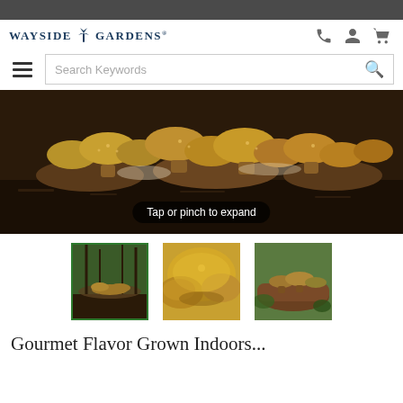Wayside Gardens
[Figure (screenshot): Main product photo of shiitake mushrooms growing on logs outdoors, large cluster view]
Tap or pinch to expand
[Figure (photo): Three thumbnail product images: mushrooms growing in forest, close-up of golden shiitake caps, mushrooms on a log]
Gourmet Flavor Grown Indoors...